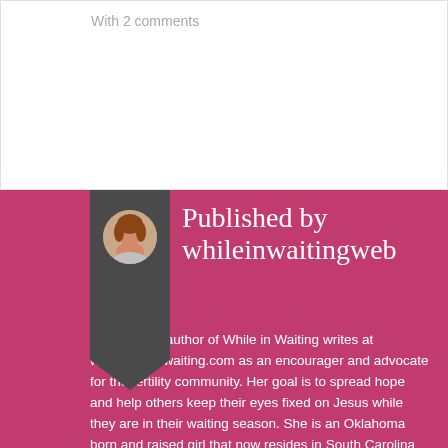With 2 comments
Published by whileinwaitingweb
[Figure (photo): Circular author photo of a woman with reddish-brown hair, set within a dark charcoal bookmark ribbon shape on a pink/magenta background]
Angela Lee, author of While in Waiting writes at www.whileinwaiting.com as an encourager and advocate for the fertility community. Her goal is to spread hope and help others keep their eyes fixed on Jesus while they are in their waiting season. She is an Oklahoma born and raised girl that now resides in South Carolina with her sweet, southern husband, Bryant. After almost 5 years of waiting they welcomed their son Lincoln after pursuing IVF. To keep up with Angela and her family, you can follow her @while_in_waiting on Instagram. Questions